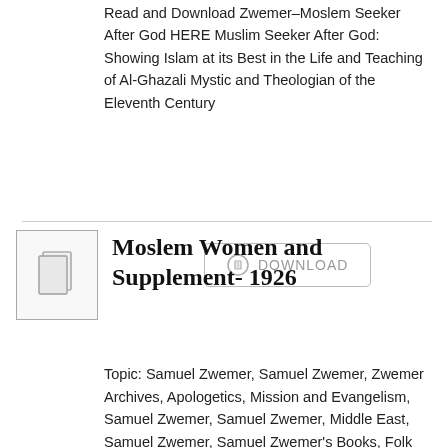Read and Download Zwemer–Moslem Seeker After God HERE Muslim Seeker After God: Showing Islam at its Best in the Life and Teaching of Al-Ghazali Mystic and Theologian of the Eleventh Century
[Figure (other): Download button with document icon and text DOWNLOAD]
Moslem Women and Supplement- 1926
[Figure (other): Book thumbnail icon showing stacked pages]
Topic: Samuel Zwemer, Samuel Zwemer, Zwemer Archives, Apologetics, Mission and Evangelism, Samuel Zwemer, Samuel Zwemer, Middle East, Samuel Zwemer, Samuel Zwemer's Books, Folk Islam, Samuel Zwemer, Samuel Zwemer's Books, Zwemer, Zwemer Archives, Regional, Samuel Zwemer, Samuel Zwemer's Books, Zwemer, Zwemer Archives, Folk Islam, Samuel Zwemer, Samuel Zwemer's Books, Zwemer, Zwemer Archives, Muslim Women, Samuel Zwemer, Samuel Zwemer's